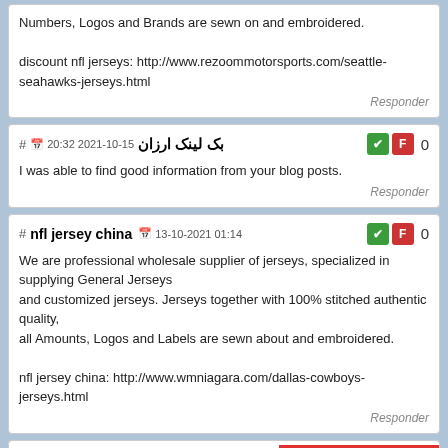Numbers, Logos and Brands are sewn on and embroidered.

discount nfl jerseys: http://www.rezoommotorsports.com/seattle-seahawks-jerseys.html
Responder
# بک لینک ارزان 20:32 2021-10-15
I was able to find good information from your blog posts.
Responder
# nfl jersey china 13-10-2021 01:14
We are professional wholesale supplier of jerseys, specialized in supplying General Jerseys
and customized jerseys. Jerseys together with 100% stitched authentic quality,
all Amounts, Logos and Labels are sewn about and embroidered.

nfl jersey china: http://www.wmniagara.com/dallas-cowboys-jerseys.html
Responder
[Figure (other): LUZ 102.1 FM red banner with right-pointing arrow]
# nfl game jerseys 12-10-2021 18:27
We are usually professional wholesale provider of jerseys, specialized in supplying
Wholesale Jerseys and personalized jerseys. Jerseys along with 100% stitched authentic
quality, all Quantities, Logos and Brands are sewn about and embroidered.

nfl game jerseys: http://www.gourmettrading.net/wp-content/wholesale-jerseys-supply.html